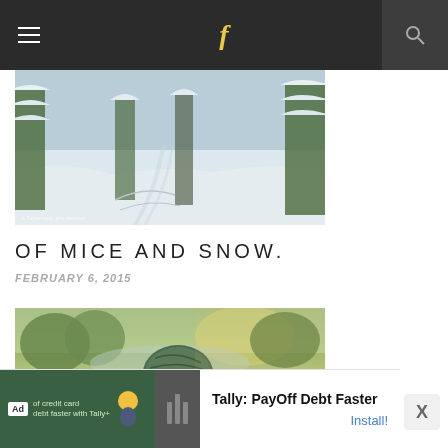≡  f  🔍
[Figure (photo): Snow-covered path through trees with heavy snow on branches]
OF MICE AND SNOW.
FEBRUARY 6, 2015
[Figure (photo): Ball of green yarn on top of books, outdoors near a lake with trees in background]
[Figure (other): Advertisement: Tally - PayOff Debt Faster, with Install button]